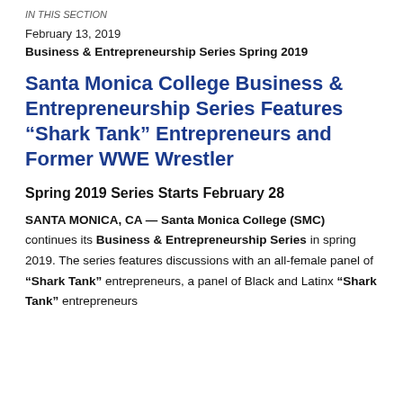IN THIS SECTION
February 13, 2019
Business & Entrepreneurship Series Spring 2019
Santa Monica College Business & Entrepreneurship Series Features “Shark Tank” Entrepreneurs and Former WWE Wrestler
Spring 2019 Series Starts February 28
SANTA MONICA, CA — Santa Monica College (SMC) continues its Business & Entrepreneurship Series in spring 2019. The series features discussions with an all-female panel of “Shark Tank” entrepreneurs, a panel of Black and Latinx “Shark Tank” entrepreneurs